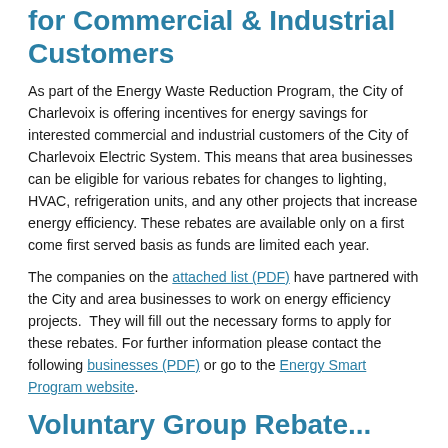for Commercial & Industrial Customers
As part of the Energy Waste Reduction Program, the City of Charlevoix is offering incentives for energy savings for interested commercial and industrial customers of the City of Charlevoix Electric System. This means that area businesses can be eligible for various rebates for changes to lighting, HVAC, refrigeration units, and any other projects that increase energy efficiency. These rebates are available only on a first come first served basis as funds are limited each year.
The companies on the attached list (PDF) have partnered with the City and area businesses to work on energy efficiency projects.  They will fill out the necessary forms to apply for these rebates. For further information please contact the following businesses (PDF) or go to the Energy Smart Program website.
Voluntary Group Rebate...